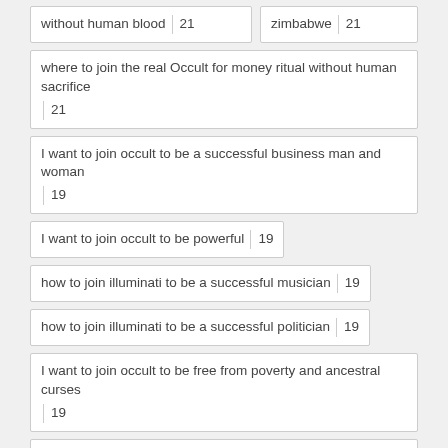| without human blood | 21 | zimbabwe | 21 |
| where to join the real Occult for money ritual without human sacrifice | 21 |
| I want to join occult to be a successful business man and woman | 19 |
| I want to join occult to be powerful | 19 |
| how to join illuminati to be a successful musician | 19 |
| how to join illuminati to be a successful politician | 19 |
| I want to join occult to be free from poverty and ancestral curses | 19 |
| I want to join occult to be free from ancestral curses and demonic attacks | 19 |
| how to join occult for money ritual | 14 | weak erection | 13 |
| +27710732372 penis enlargement cream | 13 | Dubai | 13 |